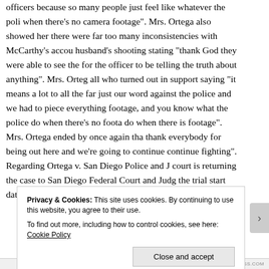officers because so many people just feel like whatever the police say goes when there's no camera footage". Mrs. Ortega also showed her there were far too many inconsistencies with McCarthy's account of her husband's shooting stating "thank God they were able to see the footage for the officer to be telling the truth about anything". Mrs. Ortega thanked all who turned out in support saying "it means a lot to all the family, it was just our word against the police and we had to piece everything together with footage, and you know what the police do when there's no footage, they do when there is footage". Mrs. Ortega ended by once again thanking "I want to thank everybody for being out here and we're going to continue to fight, continue fighting". Regarding Ortega v. San Diego Police and Judge, the court is returning the case to San Diego Federal Court and Judge, the trial start date is still unknown at this time.
Privacy & Cookies: This site uses cookies. By continuing to use this website, you agree to their use.
To find out more, including how to control cookies, see here: Cookie Policy